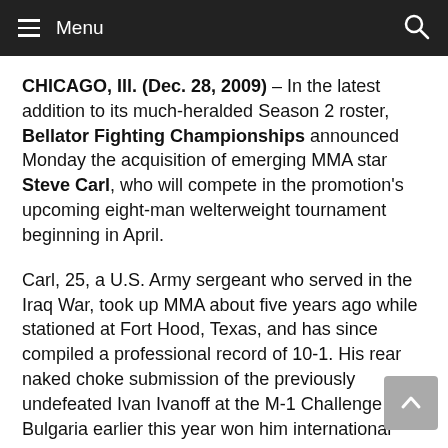Menu
CHICAGO, Ill. (Dec. 28, 2009) – In the latest addition to its much-heralded Season 2 roster, Bellator Fighting Championships announced Monday the acquisition of emerging MMA star Steve Carl, who will compete in the promotion's upcoming eight-man welterweight tournament beginning in April.
Carl, 25, a U.S. Army sergeant who served in the Iraq War, took up MMA about five years ago while stationed at Fort Hood, Texas, and has since compiled a professional record of 10-1. His rear naked choke submission of the previously undefeated Ivan Ivanoff at the M-1 Challenge in Bulgaria earlier this year won him international